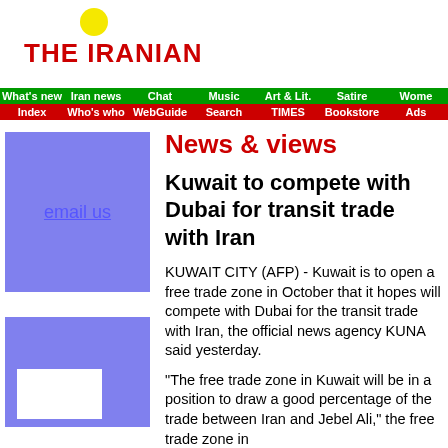THE IRANIAN
| What's new | Iran news | Chat | Music | Art & Lit. | Satire | Wome... |
| --- | --- | --- | --- | --- | --- | --- |
| Index | Who's who | WebGuide | Search | TIMES | Bookstore | Ads |
News & views
Kuwait to compete with Dubai for transit trade with Iran
KUWAIT CITY (AFP) - Kuwait is to open a free trade zone in October that it hopes will compete with Dubai for the transit trade with Iran, the official news agency KUNA said yesterday.
"The free trade zone in Kuwait will be in a position to draw a good percentage of the trade between Iran and Jebel Ali," the free trade zone in